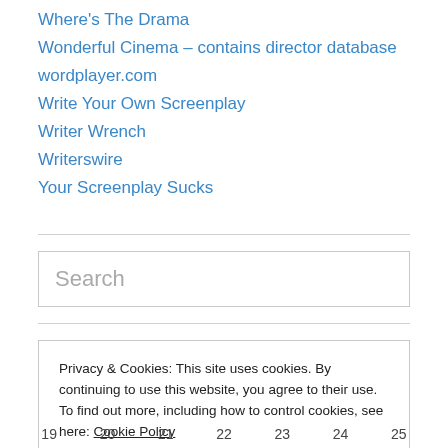Where's The Drama
Wonderful Cinema – contains director database
wordplayer.com
Write Your Own Screenplay
Writer Wrench
Writerswire
Your Screenplay Sucks
Search
Privacy & Cookies: This site uses cookies. By continuing to use this website, you agree to their use.
To find out more, including how to control cookies, see here: Cookie Policy
Close and accept
19  20  21  22  23  24  25